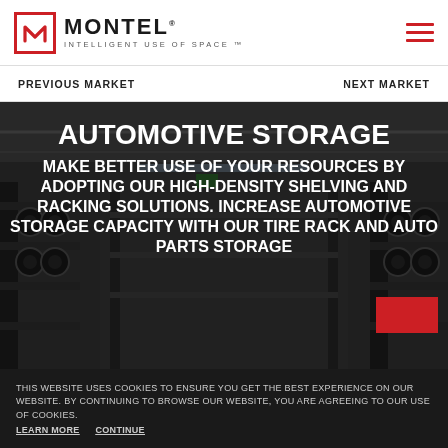MONTEL — INTELLIGENT USE OF SPACE
PREVIOUS MARKET    NEXT MARKET
[Figure (photo): Automotive storage facility with tires and auto parts on high-density shelving racks]
AUTOMOTIVE STORAGE
MAKE BETTER USE OF YOUR RESOURCES BY ADOPTING OUR HIGH-DENSITY SHELVING AND RACKING SOLUTIONS. INCREASE AUTOMOTIVE STORAGE CAPACITY WITH OUR TIRE RACK AND AUTO PARTS STORAGE
THIS WEBSITE USES COOKIES TO ENSURE YOU GET THE BEST EXPERIENCE ON OUR WEBSITE. BY CONTINUING TO BROWSE OUR WEBSITE, YOU ARE AGREEING TO OUR USE OF COOKIES. LEARN MORE  CONTINUE